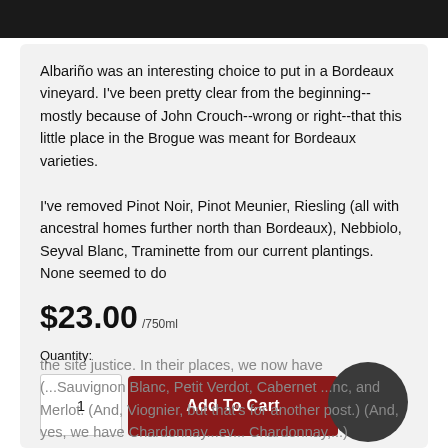[Figure (screenshot): Dark top navigation bar]
Albariño was an interesting choice to put in a Bordeaux vineyard.  I've been pretty clear from the beginning--mostly because of John Crouch--wrong or right--that this little place in the Brogue was meant for Bordeaux varieties.

I've removed Pinot Noir, Pinot Meunier, Riesling (all with ancestral homes further north than Bordeaux), Nebbiolo, Seyval Blanc, Traminette from our current plantings.  None seemed to do the site justice.  In their places, we now have (...Sauvignon Blanc, Petit Verdot, Cabernet ...nc, and Merlot. (And, Viognier, but that's for another post.) (And, yes, we have Chardonnay...ev... Chardonnay,...)
$23.00 /750ml
Quantity:
1
Add To Cart